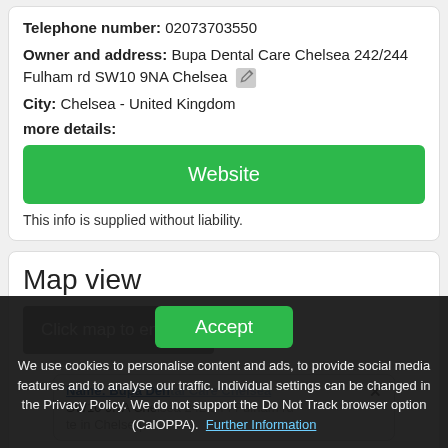Telephone number: 02073703550
Owner and address: Bupa Dental Care Chelsea 242/244 Fulham rd SW10 9NA Chelsea
City: Chelsea - United Kingdom
more details:
Website
This info is supplied without liability.
Map view
Click map to enlarge
Name: Bupa Dental Care Chelsea
SW10 9NA Chelsea 242/244 Fulham rd
Accept
We use cookies to personalise content and ads, to provide social media features and to analyse our traffic. Individual settings can be changed in the Privacy Policy. We do not support the Do Not Track browser option (CalOPPA). Further Information